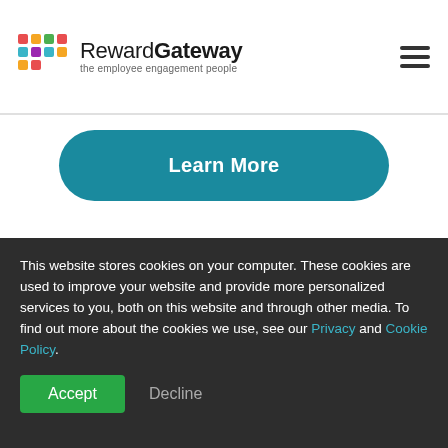Reward Gateway — the employee engagement people
Learn More
Expedited implementation to get you started, faster
This website stores cookies on your computer. These cookies are used to improve your website and provide more personalized services to you, both on this website and through other media. To find out more about the cookies we use, see our Privacy and Cookie Policy.
Accept  Decline